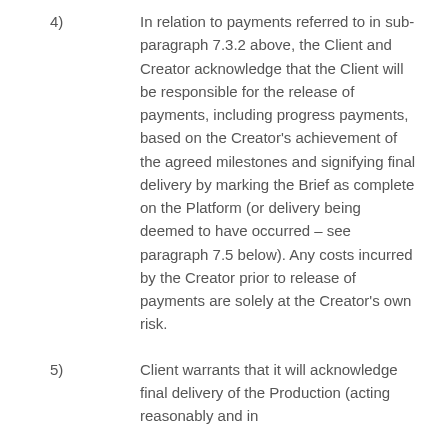4) In relation to payments referred to in sub-paragraph 7.3.2 above, the Client and Creator acknowledge that the Client will be responsible for the release of payments, including progress payments, based on the Creator's achievement of the agreed milestones and signifying final delivery by marking the Brief as complete on the Platform (or delivery being deemed to have occurred – see paragraph 7.5 below). Any costs incurred by the Creator prior to release of payments are solely at the Creator's own risk.
5) Client warrants that it will acknowledge final delivery of the Production (acting reasonably and in